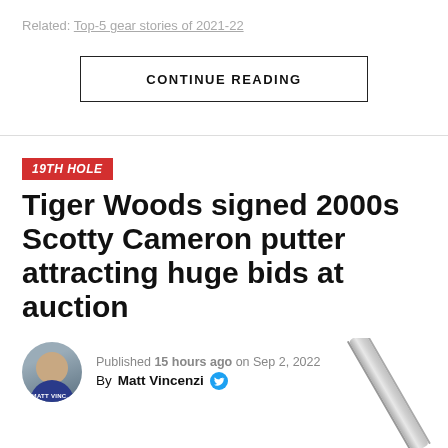Related: Top-5 gear stories of 2021-22
CONTINUE READING
19TH HOLE
Tiger Woods signed 2000s Scotty Cameron putter attracting huge bids at auction
Published 15 hours ago on Sep 2, 2022
By Matt Vincenzi
[Figure (photo): Silver golf putter (Scotty Cameron) shown at bottom right corner]